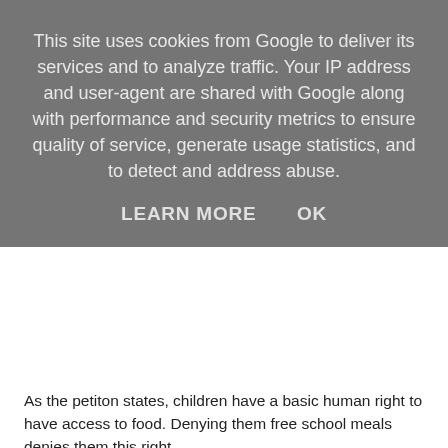This site uses cookies from Google to deliver its services and to analyze traffic. Your IP address and user-agent are shared with Google along with performance and security metrics to ensure quality of service, generate usage statistics, and to detect and address abuse.
LEARN MORE    OK
As the petiton states, children have a basic human right to have access to food. Denying them free school meals denies them this right.
There are too many children going hungry. The Government's vote condemns children on free school meals to starve over the holidays.
In the middle of a global pandemic where many families are on an even more reduced income, where many have lost their livelihoods, parents are working flat out to do everything in their power to feed their children and they are still not managing it.
To make a child suffer for the shortcomings of our society is completely wrong. Taking away free school meals in the holidays, when these children need it the most is abhorrent.